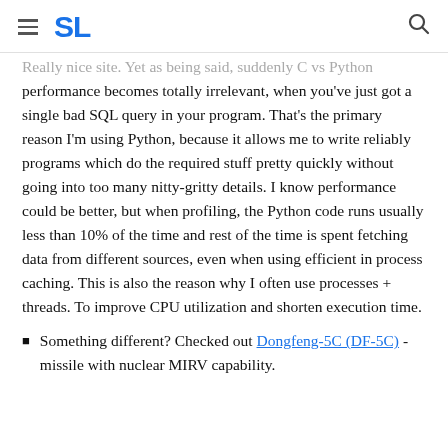SL
Really nice site. Yet as being said, suddenly C vs Python performance becomes totally irrelevant, when you've just got a single bad SQL query in your program. That's the primary reason I'm using Python, because it allows me to write reliably programs which do the required stuff pretty quickly without going into too many nitty-gritty details. I know performance could be better, but when profiling, the Python code runs usually less than 10% of the time and rest of the time is spent fetching data from different sources, even when using efficient in process caching. This is also the reason why I often use processes + threads. To improve CPU utilization and shorten execution time.
Something different? Checked out Dongfeng-5C (DF-5C) - missile with nuclear MIRV capability.